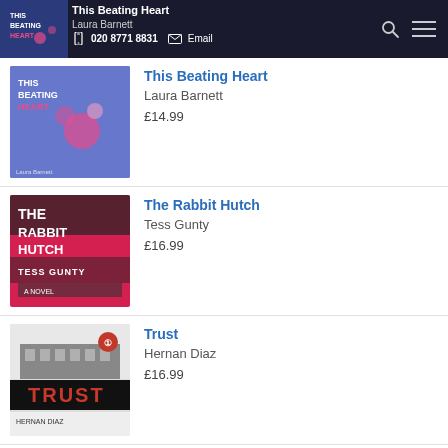020 8771 8831  Email  This Beating Heart  Laura Barnett  £14.99
The Rabbit Hutch
Tess Gunty
£16.99
Trust
Hernan Diaz
£16.99
Haven
Emma Donoghue
£16.99
Eden